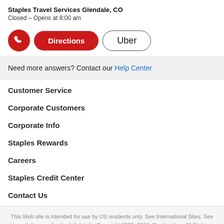Staples Travel Services Glendale, CO
Closed – Opens at 8:00 am
[Figure (infographic): Row of action buttons: red phone icon button, red 'Directions' pill button, and outlined 'Uber' pill button]
Need more answers? Contact our Help Center
Customer Service
Corporate Customers
Corporate Info
Staples Rewards
Careers
Staples Credit Center
Contact Us
This Web site is intended for use by US residents only. See International Sites. See our delivery policy for full details. Copyright 1998–2019, Staples, Inc., All Rights Reserved. Office Supplies | School Supplies | Business Cards | Site Map | Privacy Policy | Terms & Conditions | AdChoices